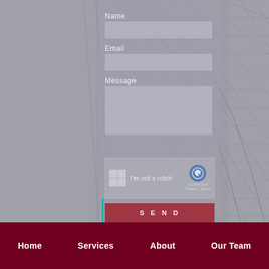[Figure (photo): Looking-up view of a glass and steel building facade with diagonal grid pattern, rendered in grayscale. Semi-transparent grey form overlay on the left-center area contains form fields for Name, Email, Message, a reCAPTCHA widget, and a SEND button.]
Name
Email
Message
I'm not a robot
reCAPTCHA
Privacy - Terms
S E N D
Home   Services   About   Our Team